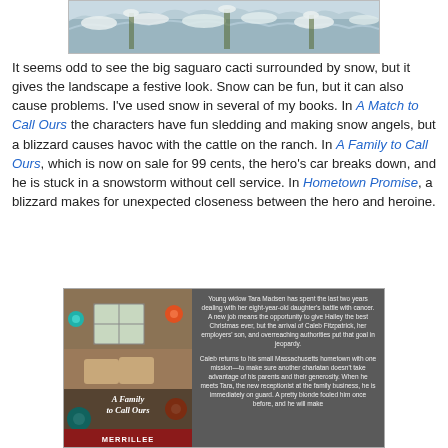[Figure (photo): Snow-covered saguaro cacti landscape photo, shown at top center]
It seems odd to see the big saguaro cacti surrounded by snow, but it gives the landscape a festive look. Snow can be fun, but it can also cause problems. I've used snow in several of my books. In A Match to Call Ours the characters have fun sledding and making snow angels, but a blizzard causes havoc with the cattle on the ranch. In A Family to Call Ours, which is now on sale for 99 cents, the hero's car breaks down, and he is stuck in a snowstorm without cell service. In Hometown Promise, a blizzard makes for unexpected closeness between the hero and heroine.
[Figure (photo): Book promotion image for 'A Family to Call Ours' by Merrillee, showing book cover on left and description text on right against dark gray background. Description reads: Young widow Tara Madsen has spent the last two years dealing with her eight-year-old daughter's battle with cancer. A new job means the opportunity to give Hailey the best Christmas ever, but the arrival of Caleb Fitzpatrick, her employers' son, and overreaching authorities put that goal in jeopardy. Caleb returns to his small Massachusetts hometown with one mission—to make sure another charlatan doesn't take advantage of his parents and their generosity. When he meets Tara, the new receptionist at the family business, he is immediately on guard. A pretty blonde fooled him once before, and he will make sure it doesn't happen again.]